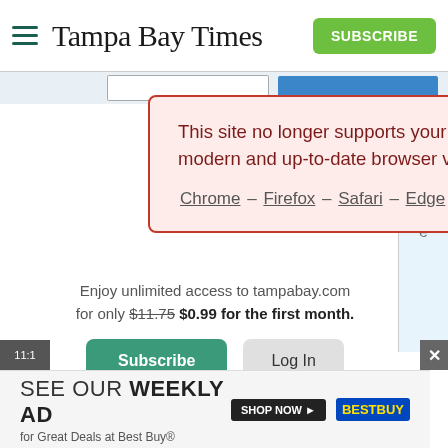[Figure (screenshot): Tampa Bay Times website screenshot showing browser compatibility warning modal, subscription prompt with pricing ($11.75 crossed out, $0.99 for first month), Subscribe and Log In buttons, print delivery link, and Best Buy weekly ad banner at the bottom.]
Tampa Bay Times — SUBSCRIBE
This site no longer supports your current browser. Please use a modern and up-to-date browser version for the best experience.
Chrome – Firefox – Safari – Edge
Enjoy unlimited access to tampabay.com for only $11.75 $0.99 for the first month.
Subscribe
Log In
Interested in print delivery? Subscribe here →
SEE OUR WEEKLY AD for Great Deals at Best Buy®